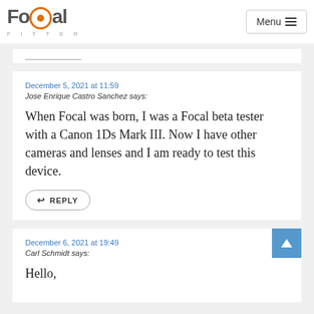FoCal | Menu
December 5, 2021 at 11:59
Jose Enrique Castro Sanchez says:
When Focal was born, I was a Focal beta tester with a Canon 1Ds Mark III. Now I have other cameras and lenses and I am ready to test this device.
REPLY
December 6, 2021 at 19:49
Carl Schmidt says:
Hello,